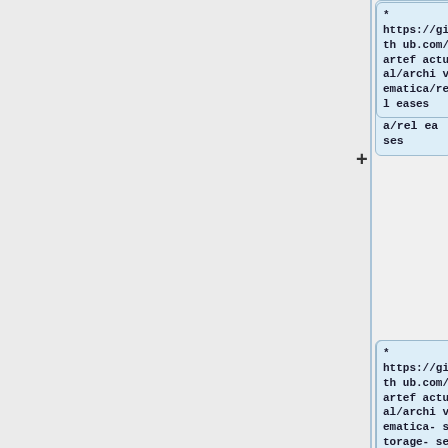* https://github.com/artefactual/archivematica/releases
* https://github.com/artefactual/archivematica-storage-service/releases
'''Step 12''': Release Captain